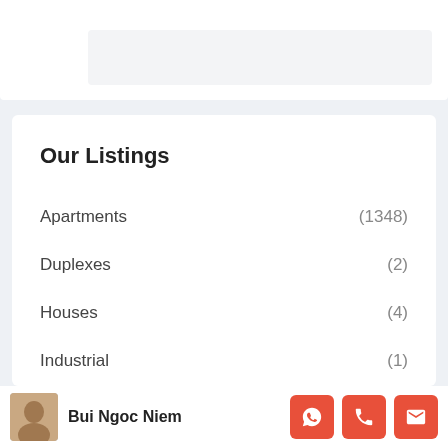Our Listings
Apartments (1348)
Duplexes (2)
Houses (4)
Industrial (1)
Land (2)
Bui Ngoc Niem